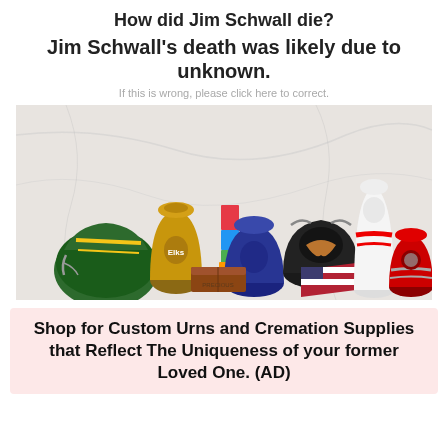How did Jim Schwall die?
Jim Schwall's death was likely due to unknown.
If this is wrong, please click here to correct.
[Figure (photo): A collection of custom cremation urns and memorial items arranged on a white marble surface, including a football helmet urn, a blue wolf urn, a gold Elks urn, a motorcycle-themed urn, a bowling pin, a red urn, a wooden box, and an American flag memorial item.]
Shop for Custom Urns and Cremation Supplies that Reflect The Uniqueness of your former Loved One. (AD)